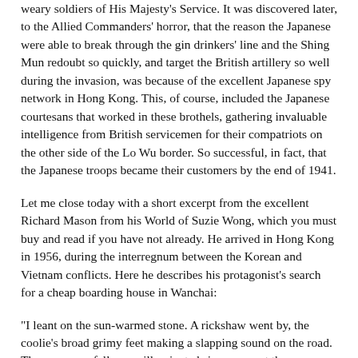weary soldiers of His Majesty's Service. It was discovered later, to the Allied Commanders' horror, that the reason the Japanese were able to break through the gin drinkers' line and the Shing Mun redoubt so quickly, and target the British artillery so well during the invasion, was because of the excellent Japanese spy network in Hong Kong. This, of course, included the Japanese courtesans that worked in these brothels, gathering invaluable intelligence from British servicemen for their compatriots on the other side of the Lo Wu border. So successful, in fact, that the Japanese troops became their customers by the end of 1941.
Let me close today with a short excerpt from the excellent Richard Mason from his World of Suzie Wong, which you must buy and read if you have not already. He arrived in Hong Kong in 1956, during the interregnum between the Korean and Vietnam conflicts. Here he describes his protagonist's search for a cheap boarding house in Wanchai:
"I leant on the sun-warmed stone. A rickshaw went by, the coolie's broad grimy feet making a slapping sound on the road. Then my eyes fell on an illuminated sign amongst the